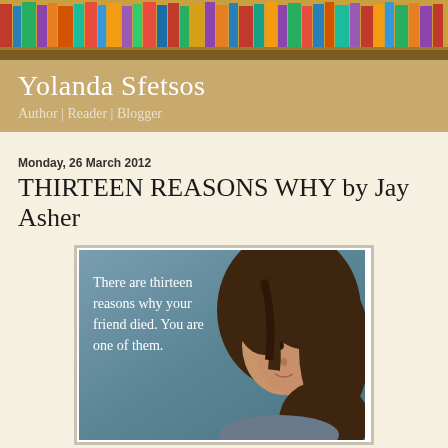[Figure (photo): Colorful bookshelf banner at the top of the blog page]
Yolanda Sfetsos
Author | Reader | Blogger
Monday, 26 March 2012
THIRTEEN REASONS WHY by Jay Asher
[Figure (photo): Book cover for Thirteen Reasons Why showing a teenage girl looking over her shoulder with text: There are thirteen reasons why your friend died. You are one of them.]